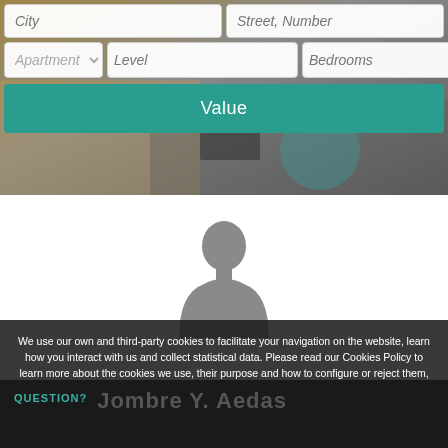[Figure (screenshot): Website UI showing a property search/valuation form with fields: City, Street/Number, Apartment type dropdown, Level, Bedrooms, Lift dropdown, and a teal 'Value' button, overlaid on a blurred kitchen/home background photo.]
[Figure (illustration): Generic grey silhouette of a person (placeholder avatar) on white background.]
We use our own and third-party cookies to facilitate your navigation on the website, learn how you interact with us and collect statistical data. Please read our Cookies Policy to learn more about the cookies we use, their purpose and how to configure or reject them, if you consider it so.
Accept all
Manage Cookies
Reject
QUESTION?
Jombre Y. Aedas